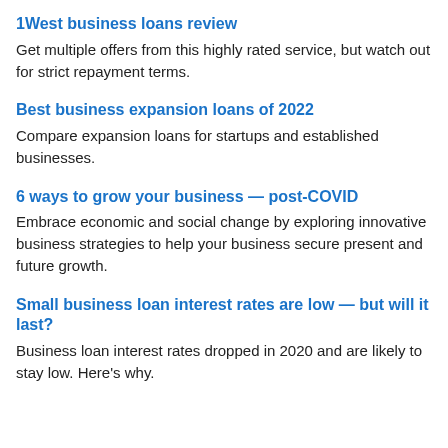1West business loans review
Get multiple offers from this highly rated service, but watch out for strict repayment terms.
Best business expansion loans of 2022
Compare expansion loans for startups and established businesses.
6 ways to grow your business — post-COVID
Embrace economic and social change by exploring innovative business strategies to help your business secure present and future growth.
Small business loan interest rates are low — but will it last?
Business loan interest rates dropped in 2020 and are likely to stay low. Here's why.